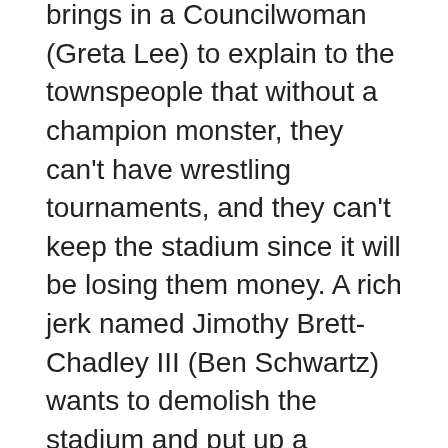brings in a Councilwoman (Greta Lee) to explain to the townspeople that without a champion monster, they can't have wrestling tournaments, and they can't keep the stadium since it will be losing them money. A rich jerk named Jimothy Brett-Chadley III (Ben Schwartz) wants to demolish the stadium and put up a parking lot.
Despite everyone else seeming to give up, as well as her own mom Maggie (Susan Kelechi Watson) telling her not to go through all the trouble, Winnie travels to the town of Pittsmore, where they lost their monster champion and hold illegal monster fights in an abandoned warehouse. There, Winnie tries asking several skilled Monster Wrestlers if they will join her, but they all laugh her out.
Soon, Winnie finds Steve (Will Arnett), who happens to be Rayburn's son that she recognizes from when she and Steve were kids. He is part of the underground wrestling matches where he has to lose every night. Winnie keeps trying to get him to listen someone that Steve is...